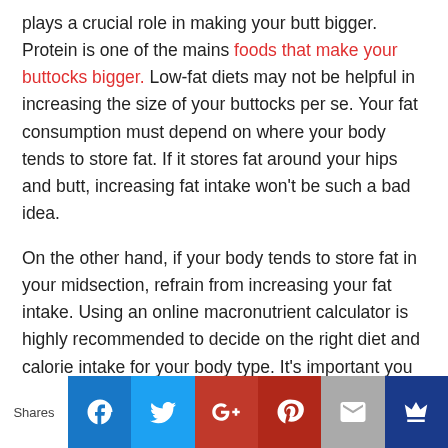plays a crucial role in making your butt bigger. Protein is one of the mains foods that make your buttocks bigger. Low-fat diets may not be helpful in increasing the size of your buttocks per se. Your fat consumption must depend on where your body tends to store fat. If it stores fat around your hips and butt, increasing fat intake won't be such a bad idea.

On the other hand, if your body tends to store fat in your midsection, refrain from increasing your fat intake. Using an online macronutrient calculator is highly recommended to decide on the right diet and calorie intake for your body type. It's important you understand what foods make your butt bigger before diving in the deep end.
[Figure (infographic): Social sharing bar with buttons for Facebook, Twitter, Google+, Pinterest, Email, and a crown/bookmark icon. A 'Shares' label appears to the left.]